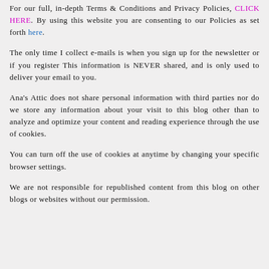For our full, in-depth Terms & Conditions and Privacy Policies, CLICK HERE. By using this website you are consenting to our Policies as set forth here.
The only time I collect e-mails is when you sign up for the newsletter or if you register This information is NEVER shared, and is only used to deliver your email to you.
Ana's Attic does not share personal information with third parties nor do we store any information about your visit to this blog other than to analyze and optimize your content and reading experience through the use of cookies.
You can turn off the use of cookies at anytime by changing your specific browser settings.
We are not responsible for republished content from this blog on other blogs or websites without our permission.